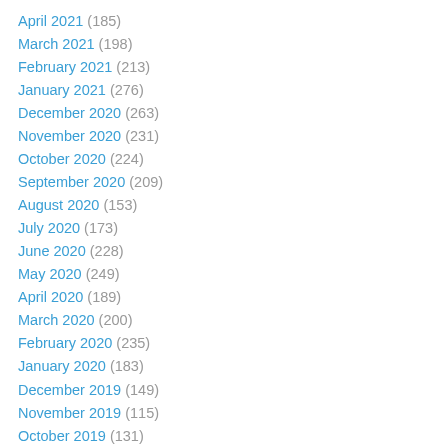April 2021 (185)
March 2021 (198)
February 2021 (213)
January 2021 (276)
December 2020 (263)
November 2020 (231)
October 2020 (224)
September 2020 (209)
August 2020 (153)
July 2020 (173)
June 2020 (228)
May 2020 (249)
April 2020 (189)
March 2020 (200)
February 2020 (235)
January 2020 (183)
December 2019 (149)
November 2019 (115)
October 2019 (131)
September 2019 (101)